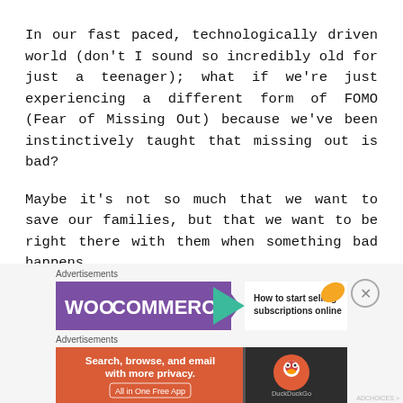In our fast paced, technologically driven world (don't I sound so incredibly old for just a teenager); what if we're just experiencing a different form of FOMO (Fear of Missing Out) because we've been instinctively taught that missing out is bad?
Maybe it's not so much that we want to save our families, but that we want to be right there with them when something bad happens.
[Figure (screenshot): WooCommerce advertisement banner with purple background, teal arrow, and text 'How to start selling subscriptions online']
[Figure (screenshot): DuckDuckGo advertisement banner with orange background, text 'Search, browse, and email with more privacy. All in One Free App' and DuckDuckGo logo on dark background]